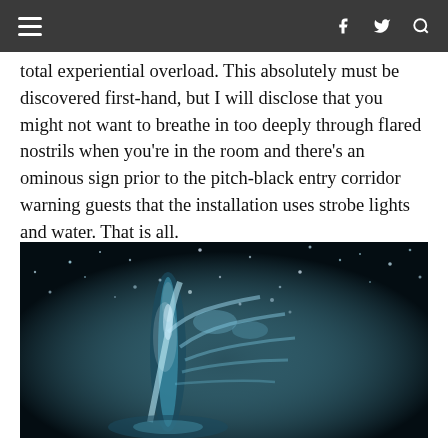≡  f  🐦  🔍
total experiential overload. This absolutely must be discovered first-hand, but I will disclose that you might not want to breathe in too deeply through flared nostrils when you're in the room and there's an ominous sign prior to the pitch-black entry corridor warning guests that the installation uses strobe lights and water. That is all.
[Figure (photo): Dark atmospheric photo of a water sculpture or splash forming a skeletal/hand shape against a black background with sparkling droplets and light reflections, appearing blue-tinted and high contrast.]